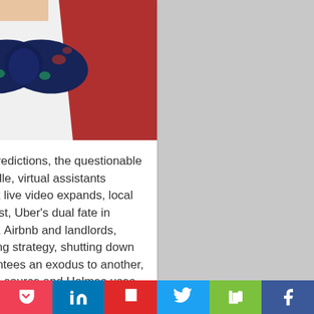[Figure (photo): Close-up photo of a person wearing a red cardigan, white dress shirt, and a navy blue bow tie decorated with a Christmas-themed pattern featuring Santa Claus and reindeer/sleigh motifs.]
It's the year-end predictions, the questionable decision to unbundle, virtual assistants abound, Facebook live video expands, local services get a boost, Uber's dual fate in Seattle and Austin, Airbnb and landlords, video and marketing strategy, shutting down one service guarantees an exodus to another, Watson goes open source and Holmes uses artificial intelligence, the trait that separates great